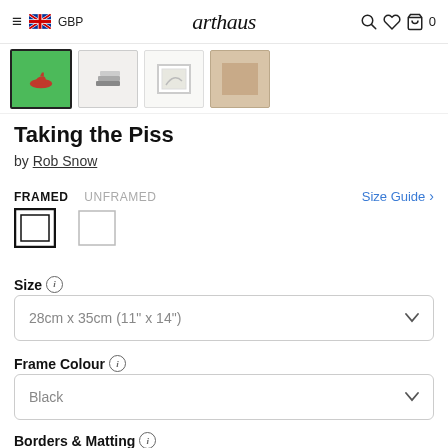≡ 🇬🇧 GBP   arthaus   🔍 ♡ 🛍 0
[Figure (photo): Thumbnail strip showing four small product images: green background art with red shoe, stacked books, white framed art, and beige/wood frame]
Taking the Piss
by Rob Snow
FRAMED   UNFRAMED
Size Guide >
[Figure (illustration): Two frame style icons: a framed picture icon (selected, with double border) and an unframed/borderless picture icon]
Size ⓘ
28cm x 35cm (11" x 14")
Frame Colour ⓘ
Black
Borders & Matting ⓘ